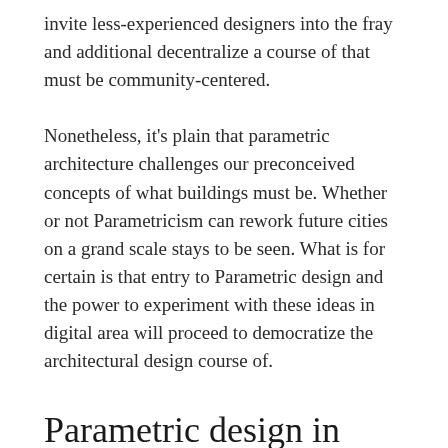invite less-experienced designers into the fray and additional decentralize a course of that must be community-centered.
Nonetheless, it's plain that parametric architecture challenges our preconceived concepts of what buildings must be. Whether or not Parametricism can rework future cities on a grand scale stays to be seen. What is for certain is that entry to Parametric design and the power to experiment with these ideas in digital area will proceed to democratize the architectural design course of.
Parametric design in architecture is slowly turning into an inseparable a part